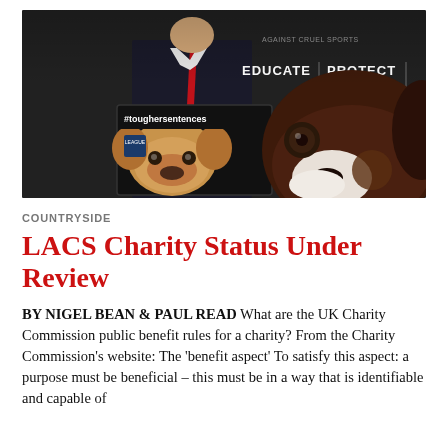[Figure (photo): A person in a dark suit with a red tie holding a sign with '#toughersentences' and a dog face printed on it, standing in front of a dark backdrop with text 'EDUCATE PROTECT' and 'AGAINST CRUEL SPORTS'. A large brown and white dog face is visible in the foreground on the right.]
COUNTRYSIDE
LACS Charity Status Under Review
BY NIGEL BEAN & PAUL READ What are the UK Charity Commission public benefit rules for a charity? From the Charity Commission's website: The 'benefit aspect' To satisfy this aspect: a purpose must be beneficial – this must be in a way that is identifiable and capable of